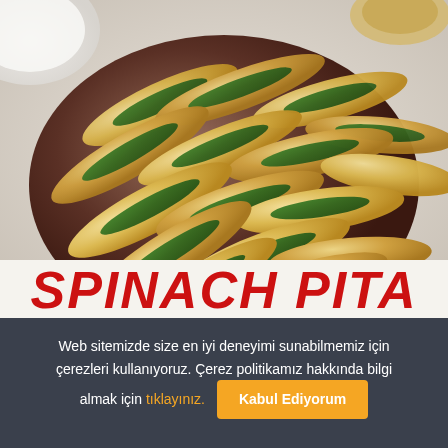[Figure (photo): Photo of spinach pita bread pieces arranged on a dark brown ceramic plate, with golden-brown baked flatbread pieces filled with green spinach, placed on a marble/wooden surface]
SPINACH PITA
Web sitemizde size en iyi deneyimi sunabilmemiz için çerezleri kullanıyoruz. Çerez politikamız hakkında bilgi almak için tıklayınız. Kabul Ediyorum